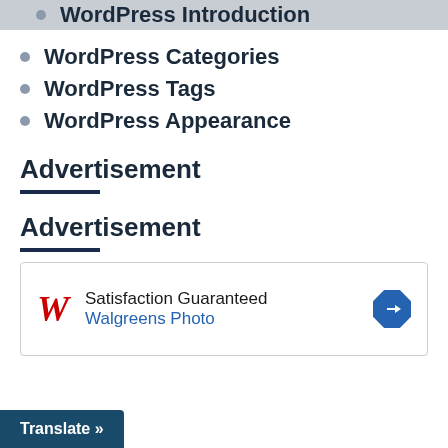WordPress Introduction
WordPress Categories
WordPress Tags
WordPress Appearance
Advertisement
Advertisement
[Figure (other): Walgreens Photo advertisement banner with Walgreens cursive logo, text 'Satisfaction Guaranteed' and 'Walgreens Photo', and a blue diamond navigation arrow icon]
Translate »